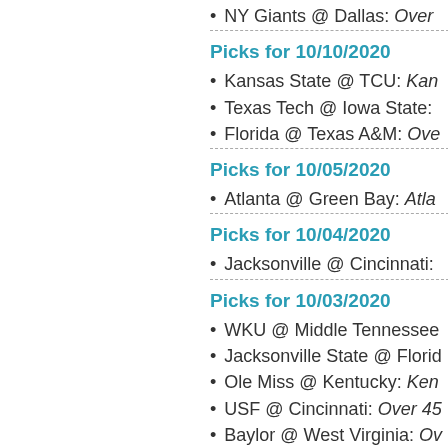NY Giants @ Dallas: Over
Picks for 10/10/2020
Kansas State @ TCU: Kan
Texas Tech @ Iowa State:
Florida @ Texas A&M: Ove
Picks for 10/05/2020
Atlanta @ Green Bay: Atla
Picks for 10/04/2020
Jacksonville @ Cincinnati:
Picks for 10/03/2020
WKU @ Middle Tennessee
Jacksonville State @ Florid
Ole Miss @ Kentucky: Ken
USF @ Cincinnati: Over 45
Baylor @ West Virginia: Ov
East Carolina @ Georgia S
NC State @ Pittsburgh: NC
Picks for 10/02/2020
Campbell Camels @ Wake
Picks for 09/27/2020
Dallas @ Seattle: Seattle -